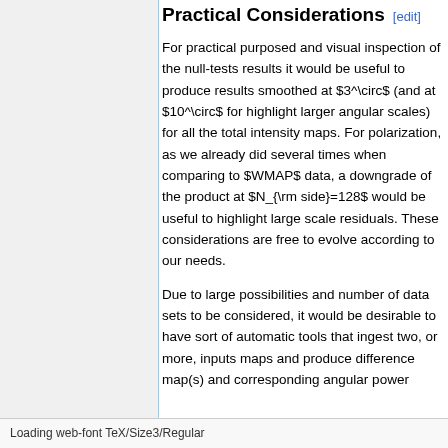Practical Considerations [edit]
For practical purposed and visual inspection of the null-tests results it would be useful to produce results smoothed at $3^\circ$ (and at $10^\circ$ for highlight larger angular scales) for all the total intensity maps. For polarization, as we already did several times when comparing to $WMAP$ data, a downgrade of the product at $N_{\rm side}=128$ would be useful to highlight large scale residuals. These considerations are free to evolve according to our needs.
Due to large possibilities and number of data sets to be considered, it would be desirable to have sort of automatic tools that ingest two, or more, inputs maps and produce difference map(s) and corresponding angular power
Loading web-font TeX/Size3/Regular